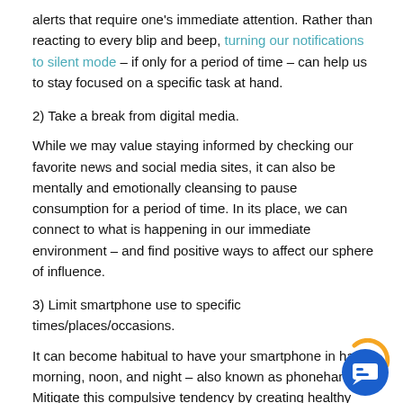alerts that require one's immediate attention. Rather than reacting to every blip and beep, turning our notifications to silent mode – if only for a period of time – can help us to stay focused on a specific task at hand.
2) Take a break from digital media.
While we may value staying informed by checking our favorite news and social media sites, it can also be mentally and emotionally cleansing to pause consumption for a period of time. In its place, we can connect to what is happening in our immediate environment – and find positive ways to affect our sphere of influence.
3) Limit smartphone use to specific times/places/occasions.
It can become habitual to have your smartphone in hand morning, noon, and night – also known as phonehand. Mitigate this compulsive tendency by creating healthy boundaries between you and your device such as:
Create a beginning/end time to device usage for the day; for e at the start and end of your work day.